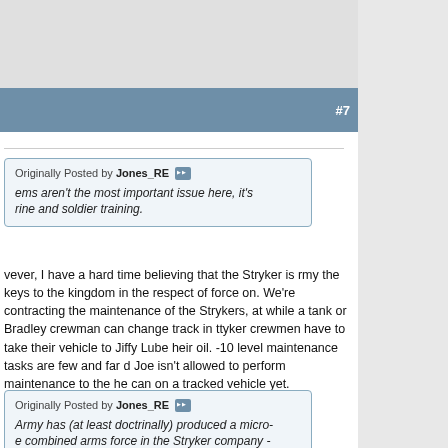#7
Originally Posted by Jones_RE
ems aren't the most important issue here, it's rine and soldier training.
vever, I have a hard time believing that the Stryker is rmy the keys to the kingdom in the respect of force on. We're contracting the maintenance of the Strykers, at while a tank or Bradley crewman can change track in ttyker crewmen have to take their vehicle to Jiffy Lube heir oil. -10 level maintenance tasks are few and far d Joe isn't allowed to perform maintenance to the he can on a tracked vehicle yet.
Originally Posted by Jones_RE
Army has (at least doctrinally) produced a micro-e combined arms force in the Stryker company - t fire, indirect fire, anti-tank weapons and try under a single command which will train